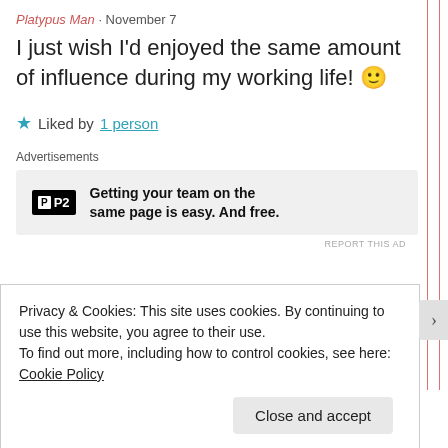Platypus Man · November 7
I just wish I'd enjoyed the same amount of influence during my working life! 🙂
★ Liked by 1 person
Advertisements
[Figure (other): P2 advertisement: Getting your team on the same page is easy. And free.]
REPORT THIS AD
Privacy & Cookies: This site uses cookies. By continuing to use this website, you agree to their use.
To find out more, including how to control cookies, see here: Cookie Policy
Close and accept